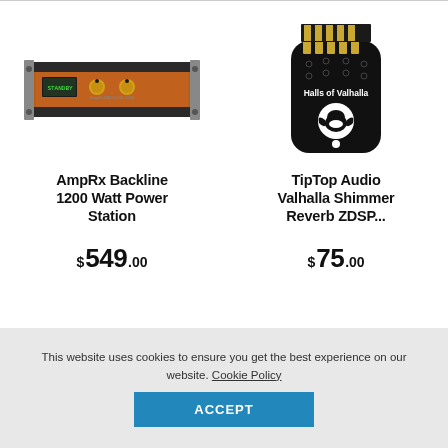[Figure (photo): AmpRx Backline 1200 Watt Power Station - a rackmount unit with brown/copper metal chassis, LCD display, and gold knobs]
AmpRx Backline 1200 Watt Power Station
$549.00
[Figure (photo): TipTop Audio Valhalla Shimmer Reverb ZDSP card - a black USB-shaped card with gold stripes at top and Halls of Valhalla text with Viking helmet logo]
TipTop Audio Valhalla Shimmer Reverb ZDSP...
$75.00
This website uses cookies to ensure you get the best experience on our website. Cookie Policy
ACCEPT